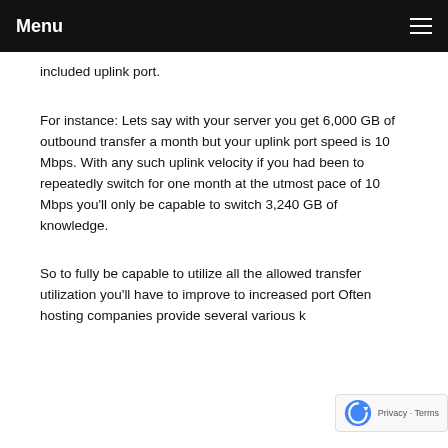Menu
included uplink port.
For instance: Lets say with your server you get 6,000 GB of outbound transfer a month but your uplink port speed is 10 Mbps. With any such uplink velocity if you had been to repeatedly switch for one month at the utmost pace of 10 Mbps you'll only be capable to switch 3,240 GB of knowledge.
So to fully be capable to utilize all the allowed transfer utilization you'll have to improve to increased port Often hosting companies provide several various k